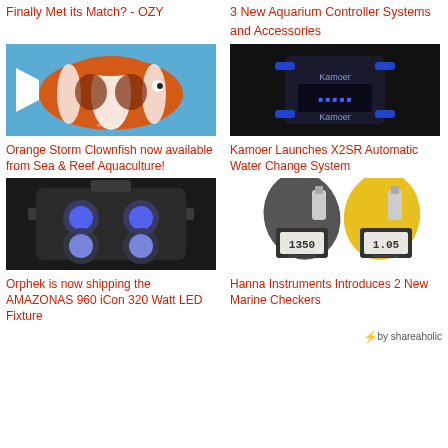Finally Met its Match? - OZY
3 New Aquarium Controller Systems and Accessories
[Figure (photo): Orange Storm Clownfish with white and orange coloring on blue background]
[Figure (photo): Kamoer X2SR automatic water change system device in black with blue fittings]
Orange Storm Clownfish now available from Sea & Reef Aquaculture!
Kamoer Launches X2SR Automatic Water Change System
[Figure (photo): Orphek AMAZONAS 960 iCon LED fixture showing blue LED lights]
[Figure (photo): Hanna Instruments marine checkers - two handheld digital testers showing readings 1350 and 1.05]
Orphek is now shipping the AMAZONAS 960 iCon 320 Watt LED Fixture
Hanna Instruments Introduces 2 New Marine Checkers
by shareaholic